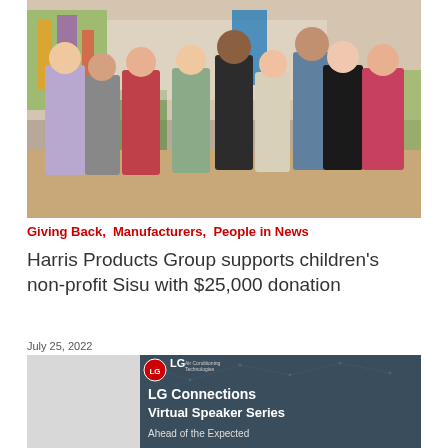[Figure (photo): Group photo of approximately 8-9 people standing together outdoors near a playground area with colorful equipment visible in the background]
Giving Back, Manufacturers, People in News
Harris Products Group supports children's non-profit Sisu with $25,000 donation
July 25, 2022
[Figure (screenshot): LG Air Conditioning Technologies - LG Connections Virtual Speaker Series - Ahead of the Expected]